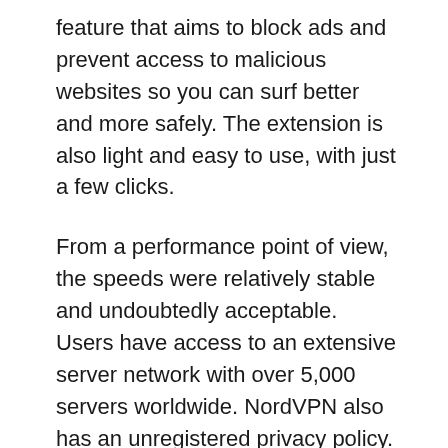feature that aims to block ads and prevent access to malicious websites so you can surf better and more safely. The extension is also light and easy to use, with just a few clicks.
From a performance point of view, the speeds were relatively stable and undoubtedly acceptable. Users have access to an extensive server network with over 5,000 servers worldwide. NordVPN also has an unregistered privacy policy.
NordVPN has 24/7 chat support. You can connect to them quickly if something goes wrong. Moreover, if you want to know more, explore our NordVPN Review.